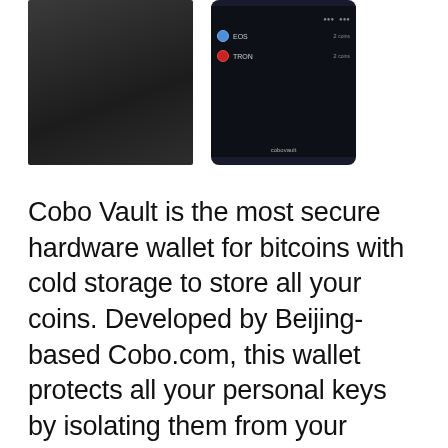[Figure (photo): Two images side by side: left shows a dark hardware wallet device (Cobo Vault), right shows a mobile phone screen with a crypto coin list interface including EOS and TRON entries with 'cobovault' branding at the bottom.]
Cobo Vault is the most secure hardware wallet for bitcoins with cold storage to store all your coins. Developed by Beijing-based Cobo.com, this wallet protects all your personal keys by isolating them from your mobile device or computer system. Cobo supports various currencies such as bitcoin, ethereum, litecoin, dash, tron, etc. The wallet looks like a mobile phone, but is completely self-contained and has no Internet connection or WiFi...